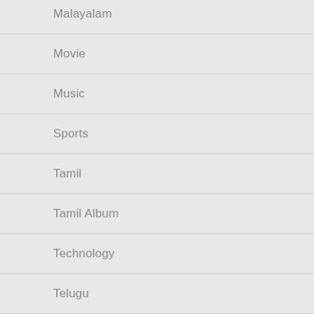Malayalam
Movie
Music
Sports
Tamil
Tamil Album
Technology
Telugu